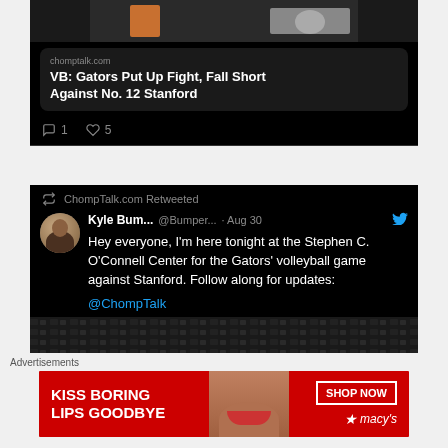[Figure (screenshot): Tweet showing link card with article title 'VB: Gators Put Up Fight, Fall Short Against No. 12 Stanford' from chomptalk.com, with 1 comment and 5 likes]
[Figure (screenshot): Retweet by ChompTalk.com. Kyle Bum... @Bumper... Aug 30 tweet: 'Hey everyone, I'm here tonight at the Stephen C. O'Connell Center for the Gators' volleyball game against Stanford. Follow along for updates: @ChompTalk']
Advertisements
[Figure (photo): Macy's advertisement banner: 'KISS BORING LIPS GOODBYE' with SHOP NOW button and Macy's logo, featuring a woman's face with red lips]